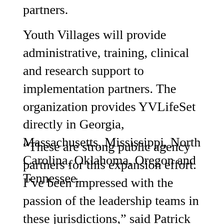partners.
Youth Villages will provide administrative, training, clinical and research support to implementation partners. The organization provides YVLifeSet directly in Georgia, Massachusetts, Mississippi, North Carolina, Oklahoma, Oregon and Tennessee.
“These are strong public agency partners for this expansion effort. I’ve been impressed with the passion of the leadership teams in these jurisdictions,” said Patrick Lawler, CEO of Youth Villages. “They’ve shown a real commitment to helping young people who age out of state services in their communities have a greater chance for long-term adult success. We’ll be working closely with them every